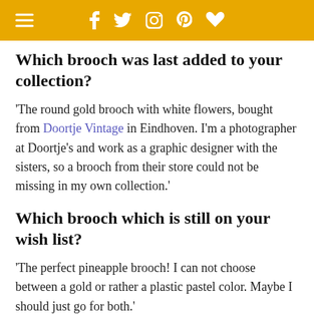☰  f  𝕏  ☷  𝗽  ♥
Which brooch was last added to your collection?
'The round gold brooch with white flowers, bought from Doortje Vintage in Eindhoven. I'm a photographer at Doortje's and work as a graphic designer with the sisters, so a brooch from their store could not be missing in my own collection.'
Which brooch which is still on your wish list?
'The perfect pineapple brooch! I can not choose between a gold or rather a plastic pastel color. Maybe I should just go for both.'
Do you have a special...